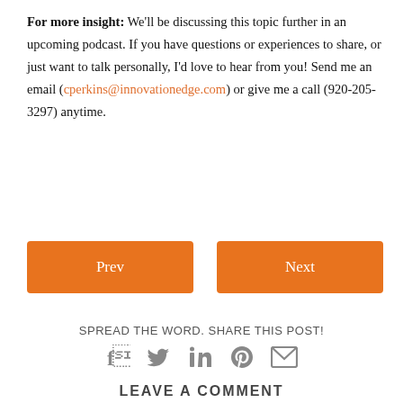For more insight: We'll be discussing this topic further in an upcoming podcast. If you have questions or experiences to share, or just want to talk personally, I'd love to hear from you! Send me an email (cperkins@innovationedge.com) or give me a call (920-205-3297) anytime.
Prev
Next
SPREAD THE WORD. SHARE THIS POST!
[Figure (infographic): Social media sharing icons: Facebook, Twitter, LinkedIn, Pinterest, Email]
LEAVE A COMMENT